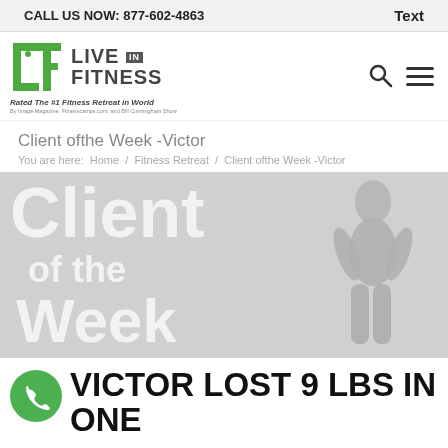CALL US NOW: 877-602-4863   Text
[Figure (logo): Live in Fitness logo with green bracket icon, tagline 'Rated The #1 Fitness Retreat in World' and subtitle 'By Image Magazine, Fitnesscamps.com, and Bill Cunningham Show']
Client of the Week - Victor
You are here:  Home  /  Fitness Retreat  /  Client of the Week - Victor
[Figure (photo): Hero banner with large watermark text 'Client of the Week' and a silhouette photo of a fit person on the right side, gray background]
VICTOR LOST 9 LBS IN ONE